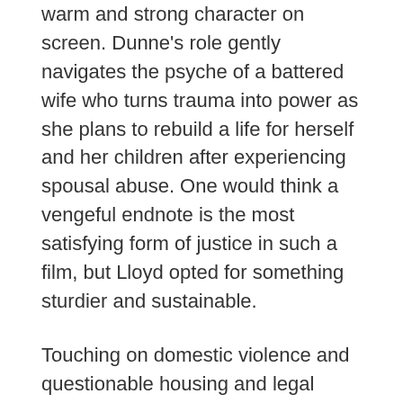warm and strong character on screen. Dunne's role gently navigates the psyche of a battered wife who turns trauma into power as she plans to rebuild a life for herself and her children after experiencing spousal abuse. One would think a vengeful endnote is the most satisfying form of justice in such a film, but Lloyd opted for something sturdier and sustainable.
Touching on domestic violence and questionable housing and legal systems, Herself does not romanticize nor overuse Sandra's abuse. The film handles it well and uses it to awaken intentional self-making, and eventually, community-building. Healing yourself doesn't always mean that you have to self-isolate for months. Herself shows that there are forms of self-constructions that involve asserting your boundaries and knowing